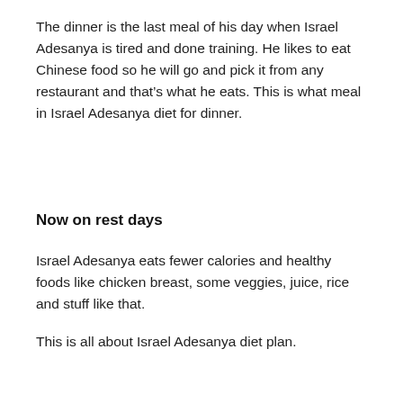The dinner is the last meal of his day when Israel Adesanya is tired and done training. He likes to eat Chinese food so he will go and pick it from any restaurant and that’s what he eats. This is what meal in Israel Adesanya diet for dinner.
Now on rest days
Israel Adesanya eats fewer calories and healthy foods like chicken breast, some veggies, juice, rice and stuff like that.
This is all about Israel Adesanya diet plan.